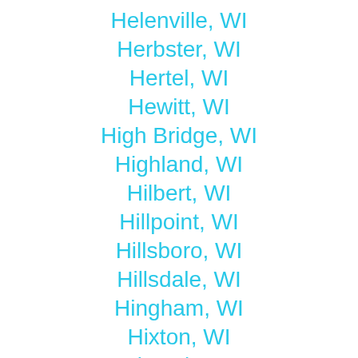Helenville, WI
Herbster, WI
Hertel, WI
Hewitt, WI
High Bridge, WI
Highland, WI
Hilbert, WI
Hillpoint, WI
Hillsboro, WI
Hillsdale, WI
Hingham, WI
Hixton, WI
Holcombe, WI
Hollandale, WI
Holmen, WI